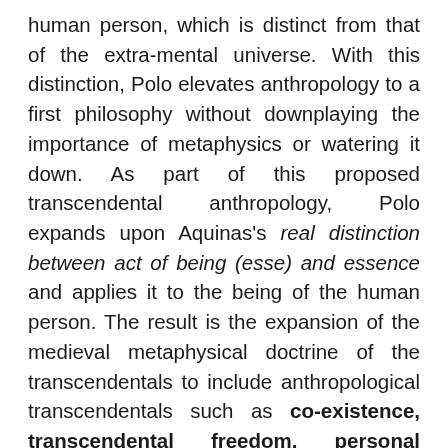human person, which is distinct from that of the extra-mental universe. With this distinction, Polo elevates anthropology to a first philosophy without downplaying the importance of metaphysics or watering it down. As part of this proposed transcendental anthropology, Polo expands upon Aquinas's real distinction between act of being (esse) and essence and applies it to the being of the human person. The result is the expansion of the medieval metaphysical doctrine of the transcendentals to include anthropological transcendentals such as co-existence, transcendental freedom, personal intellect, and personal donal love. At the same time, he offers a correction to modern philosophy's attempts at presenting freedom as transcendental.